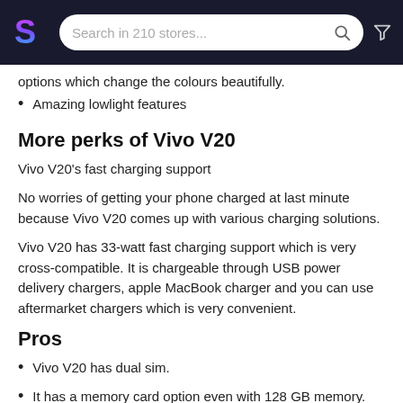Search in 210 stores...
options which change the colours beautifully.
Amazing lowlight features
More perks of Vivo V20
Vivo V20’s fast charging support
No worries of getting your phone charged at last minute because Vivo V20 comes up with various charging solutions.
Vivo V20 has 33-watt fast charging support which is very cross-compatible. It is chargeable through USB power delivery chargers, apple MacBook charger and you can use aftermarket chargers which is very convenient.
Pros
Vivo V20 has dual sim.
It has a memory card option even with 128 GB memory.